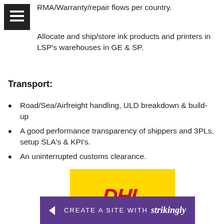[Figure (other): Navigation menu icon - three horizontal white bars on dark/black square background]
RMA/Warranty/repair flows per country.
Allocate and ship/store ink products and printers in LSP's warehouses in GE & SP.
Transport:
Road/Sea/Airfreight handling, ULD breakdown & build-up
A good performance transparency of shippers and 3PLs, setup SLA's & KPI's.
An uninterrupted customs clearance.
[Figure (logo): DHL logo in red italic text on yellow/gold background]
[Figure (other): Strikingly website builder banner - purple background with 'CREATE A SITE WITH strikingly' text in white]